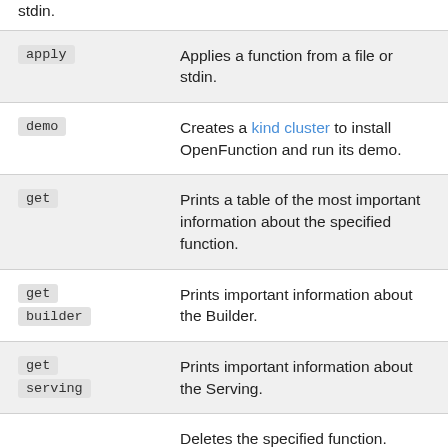stdin.
| Command | Description |
| --- | --- |
| apply | Applies a function from a file or stdin. |
| demo | Creates a kind cluster to install OpenFunction and run its demo. |
| get | Prints a table of the most important information about the specified function. |
| get builder | Prints important information about the Builder. |
| get serving | Prints important information about the Serving. |
| delete | Deletes the specified function. |